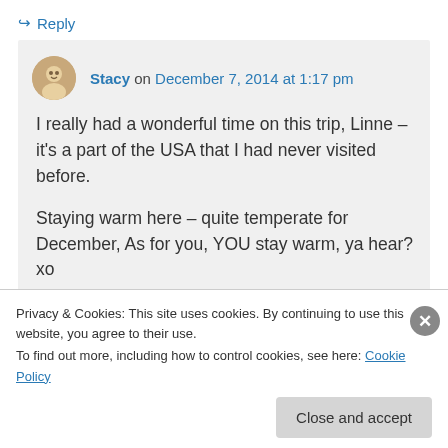↳ Reply
Stacy on December 7, 2014 at 1:17 pm
I really had a wonderful time on this trip, Linne – it's a part of the USA that I had never visited before.

Staying warm here – quite temperate for December, As for you, YOU stay warm, ya hear? xo
Privacy & Cookies: This site uses cookies. By continuing to use this website, you agree to their use.
To find out more, including how to control cookies, see here: Cookie Policy
Close and accept